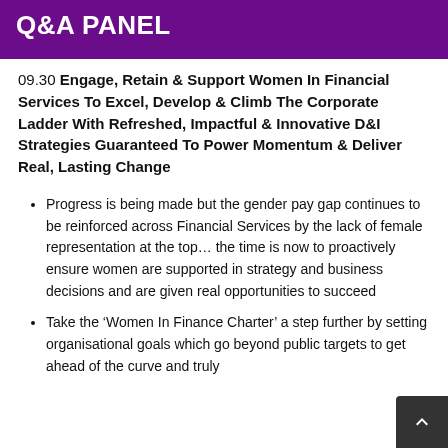Q&A PANEL
09.30 Engage, Retain & Support Women In Financial Services To Excel, Develop & Climb The Corporate Ladder With Refreshed, Impactful & Innovative D&I Strategies Guaranteed To Power Momentum & Deliver Real, Lasting Change
Progress is being made but the gender pay gap continues to be reinforced across Financial Services by the lack of female representation at the top… the time is now to proactively ensure women are supported in strategy and business decisions and are given real opportunities to succeed
Take the ‘Women In Finance Charter’ a step further by setting organisational goals which go beyond public targets to get ahead of the curve and truly